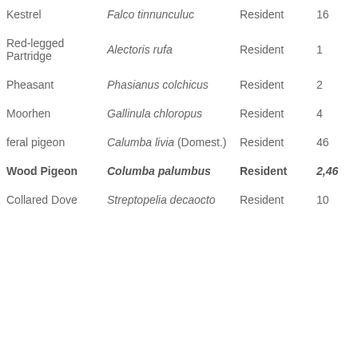| Common Name | Scientific Name | Status | Count |
| --- | --- | --- | --- |
| Kestrel | Falco tinnunculuc | Resident | 16 |
| Red-legged Partridge | Alectoris rufa | Resident | 1 |
| Pheasant | Phasianus colchicus | Resident | 2 |
| Moorhen | Gallinula chloropus | Resident | 4 |
| feral pigeon | Calumba livia (Domest.) | Resident | 46 |
| Wood Pigeon | Columba palumbus | Resident | 2,46 |
| Collared Dove | Streptopelia decaocto | Resident | 10 |